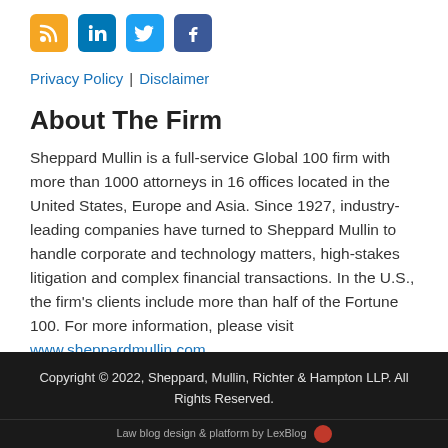[Figure (other): Row of four social media icons: RSS (orange), LinkedIn (blue), Twitter (light blue), Facebook (dark blue)]
Privacy Policy | Disclaimer
About The Firm
Sheppard Mullin is a full-service Global 100 firm with more than 1000 attorneys in 16 offices located in the United States, Europe and Asia. Since 1927, industry-leading companies have turned to Sheppard Mullin to handle corporate and technology matters, high-stakes litigation and complex financial transactions. In the U.S., the firm's clients include more than half of the Fortune 100. For more information, please visit www.sheppardmullin.com.
Copyright © 2022, Sheppard, Mullin, Richter & Hampton LLP. All Rights Reserved.
Law blog design & platform by LexBlog